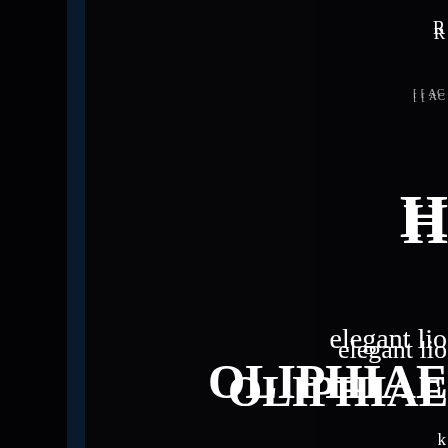R
[ [ AC
H
elegant lio
OLIPHIAE
k
[ [ AC
H
false lost pi
NILS H
DRA